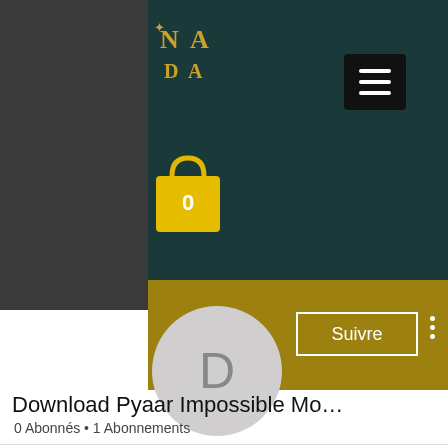[Figure (screenshot): Website header with dark teal background, gold stylized logo 'NDA', hamburger menu button, and yellow shopping bag icon with 0 count]
[Figure (screenshot): Gold/dark yellow profile cover banner with circular grey avatar showing letter D, Suivre (Follow) button in white border, and three-dot menu]
Download Pyaar Impossible Mo…
0 Abonnés • 1 Abonnements
[Figure (screenshot): Dropdown card/panel with chevron arrow pointing down]
Profil